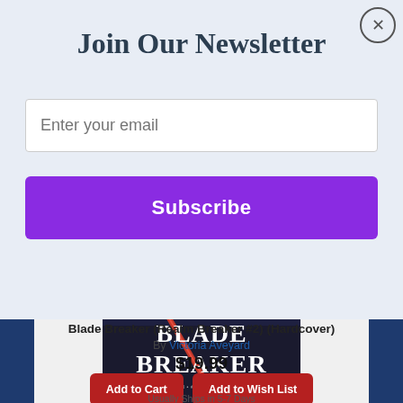Join Our Newsletter
Enter your email
Subscribe
[Figure (illustration): Book cover of Blade Breaker by Victoria Aveyard, showing a hand gripping a sword against a dark textured background]
Blade Breaker (Realm Breaker #2) (Hardcover)
By Victoria Aveyard
$19.99
Add to Cart
Add to Wish List
Usually Ships in 5-7 Days